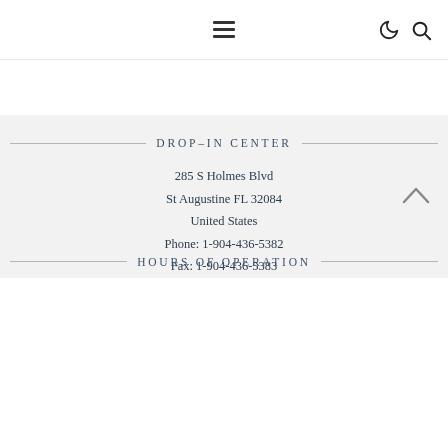≡  ☽  🔍
DROP-IN CENTER
285 S Holmes Blvd
St Augustine FL 32084
United States
Phone: 1-904-436-5382
Fax: 1-904-436-5383
HOURS OF OPERATION